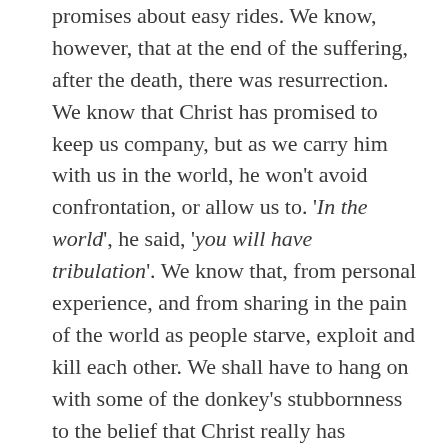promises about easy rides. We know, however, that at the end of the suffering, after the death, there was resurrection. We know that Christ has promised to keep us company, but as we carry him with us in the world, he won't avoid confrontation, or allow us to. 'In the world', he said, 'you will have tribulation'. We know that, from personal experience, and from sharing in the pain of the world as people starve, exploit and kill each other. We shall have to hang on with some of the donkey's stubbornness to the belief that Christ really has overcome the evil in the world, and that we shall share that victory.
Ride on, ride on in majesty!